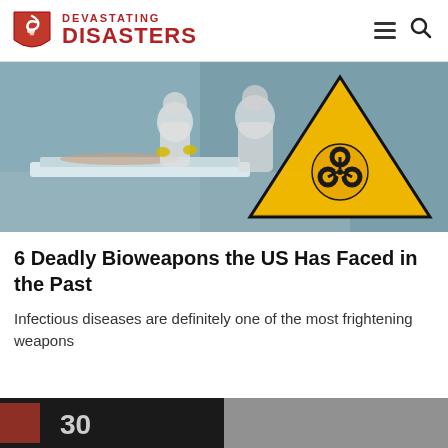DEVASTATING DISASTERS
[Figure (photo): Medical workers in white hazmat suits treating a patient on a hospital bed. A yellow hazardous materials warning triangle sign is prominently displayed on the right side of the image.]
6 Deadly Bioweapons the US Has Faced in the Past
Infectious diseases are definitely one of the most frightening weapons
[Figure (photo): Partially visible image strip at the bottom of the page showing what appears to be two images side by side, including a number 30 on the left side.]